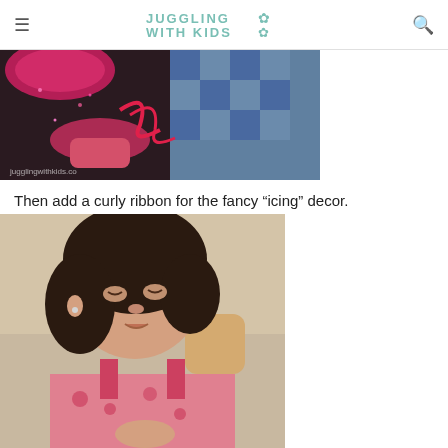JUGGLING WITH KIDS
[Figure (photo): Close-up of pink glitter cupcakes with curly ribbon decorations on a dark surface with a checkered blue cloth in the background. Watermark reads jugglingwithkids.com]
Then add a curly ribbon for the fancy “icing” decor.
[Figure (photo): A young toddler girl with curly dark hair wearing a pink and red floral top, looking down and working on a craft activity while seated in a wooden chair.]